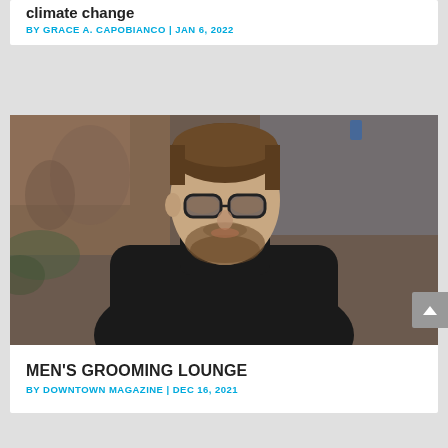climate change
BY GRACE A. CAPOBIANCO | JAN 6, 2022
[Figure (photo): A stylish man wearing glasses and a black turtleneck, photographed from behind/side, with a blurred brick building background]
MEN'S GROOMING LOUNGE
BY DOWNTOWN MAGAZINE | DEC 16, 2021